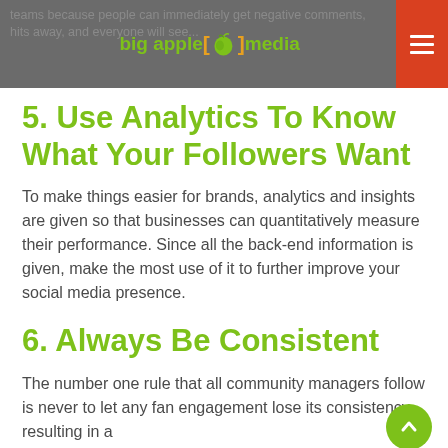big apple media
5. Use Analytics To Know What Your Followers Want
To make things easier for brands, analytics and insights are given so that businesses can quantitatively measure their performance. Since all the back-end information is given, make the most use of it to further improve your social media presence.
6. Always Be Consistent
The number one rule that all community managers follow is never to let any fan engagement lose its consistency resulting in a